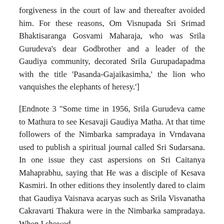forgiveness in the court of law and thereafter avoided him. For these reasons, Om Visnupada Sri Srimad Bhaktisaranga Gosvami Maharaja, who was Srila Gurudeva's dear Godbrother and a leader of the Gaudiya community, decorated Srila Gurupadapadma with the title 'Pasanda-Gajaikasimha,' the lion who vanquishes the elephants of heresy.']
[Endnote 3 "Some time in 1956, Srila Gurudeva came to Mathura to see Kesavaji Gaudiya Matha. At that time followers of the Nimbarka sampradaya in Vrndavana used to publish a spiritual journal called Sri Sudarsana. In one issue they cast aspersions on Sri Caitanya Mahaprabhu, saying that He was a disciple of Kesava Kasmiri. In other editions they insolently dared to claim that Gaudiya Vaisnava acaryas such as Srila Visvanatha Cakravarti Thakura were in the Nimbarka sampradaya. When I showed